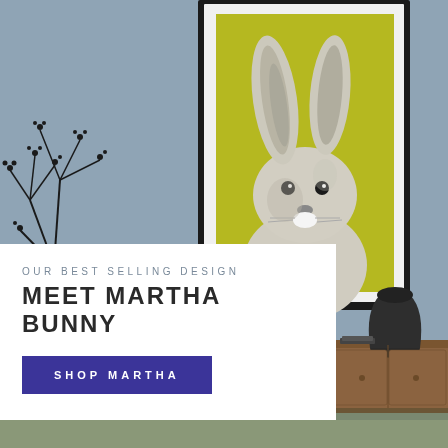[Figure (photo): Room interior with blue-grey wall. A framed painting of a white rabbit on a yellow-green background hangs on the wall. A black vase with bare branches sits on the left, and a dark rounded vase sits on a wooden sideboard on the right.]
OUR BEST SELLING DESIGN
MEET MARTHA BUNNY
SHOP MARTHA